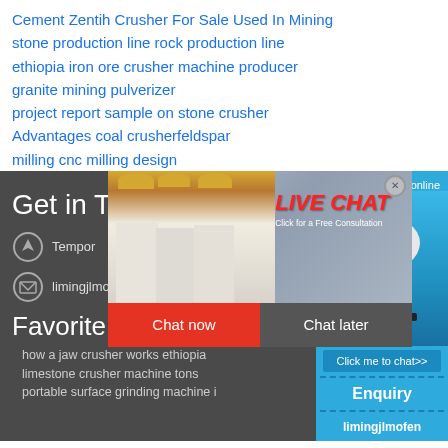Cement Zentih Crusher For Sale Used In Mining
stone production line rock production line
ethiopia iron ore crusher machine producer
granite mining pulverizer
project report sample on stone crusher
Advantages coal crusherfeldspar
milling cnc milling design
[Figure (screenshot): Live chat popup overlay with workers in hard hats, red LIVE CHAT heading, Click for a Free Consultation subtitle, Chat now and Chat later buttons]
[Figure (photo): Mining/crushing machine equipment on blue background with Click me to chat>> button]
hour online
Get in T
Tempor
limingjlmofen@sina.com
Favorite product
how a jaw crusher works ethiopia limestone crusher machine tons portable surface grinding machine i
Enquiry
limingjlmofen